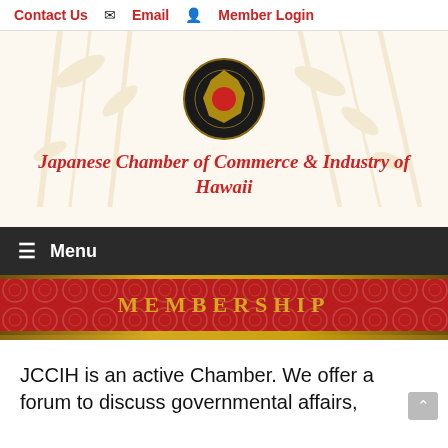Contact Us   Email   Member Login
[Figure (logo): Japanese Chamber of Commerce & Industry of Hawaii circular logo with Hawaii island silhouette and decorative elements]
Japanese Chamber of Commerce & Industry of Hawaii
Menu
MEMBERSHIP
JCCIH is an active Chamber. We offer a forum to discuss governmental affairs, opportunities for meaningful